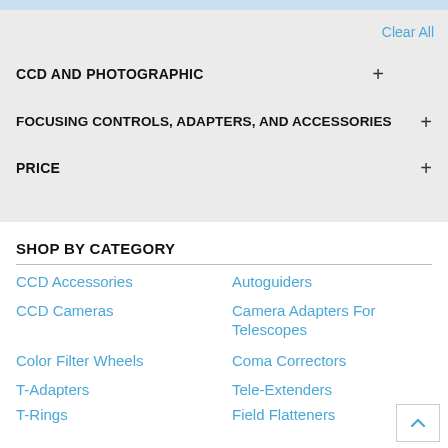Clear All
CCD AND PHOTOGRAPHIC
FOCUSING CONTROLS, ADAPTERS, AND ACCESSORIES
PRICE
SHOP BY CATEGORY
CCD Accessories
Autoguiders
CCD Cameras
Camera Adapters For Telescopes
Color Filter Wheels
Coma Correctors
T-Adapters
Tele-Extenders
T-Rings
Field Flatteners